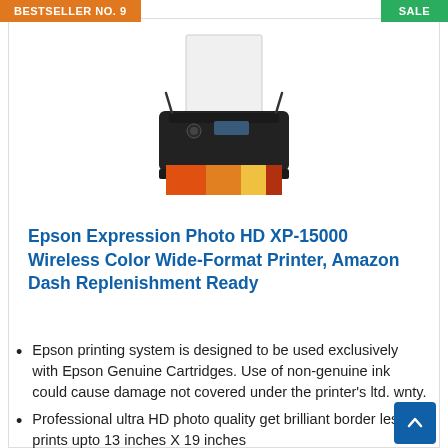BESTSELLER NO. 9
SALE
[Figure (photo): Epson Expression Photo HD XP-15000 printer with paper loaded and a colorful photo print emerging from the front]
Epson Expression Photo HD XP-15000 Wireless Color Wide-Format Printer, Amazon Dash Replenishment Ready
Epson printing system is designed to be used exclusively with Epson Genuine Cartridges. Use of non-genuine ink could cause damage not covered under the printer's ltd. wnty.
Professional ultra HD photo quality get brilliant border less prints upto 13 inches X 19 inches
Individual 6 color Claria photo HD ink includes red